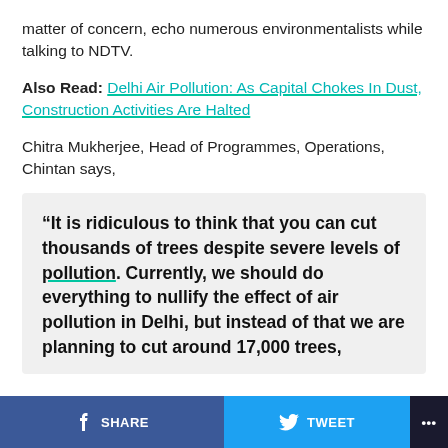matter of concern, echo numerous environmentalists while talking to NDTV.
Also Read: Delhi Air Pollution: As Capital Chokes In Dust, Construction Activities Are Halted
Chitra Mukherjee, Head of Programmes, Operations, Chintan says,
“It is ridiculous to think that you can cut thousands of trees despite severe levels of pollution. Currently, we should do everything to nullify the effect of air pollution in Delhi, but instead of that we are planning to cut around 17,000 trees,
f SHARE  🐦 TWEET  ...